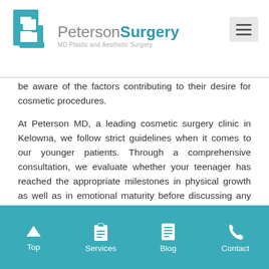PetersonSurgery MD Plastic and Aesthetic Surgery
be aware of the factors contributing to their desire for cosmetic procedures.
At Peterson MD, a leading cosmetic surgery clinic in Kelowna, we follow strict guidelines when it comes to our younger patients. Through a comprehensive consultation, we evaluate whether your teenager has reached the appropriate milestones in physical growth as well as in emotional maturity before discussing any cosmetic surgery options.
Feature Development
While some of our features, such as our ears and nose, stop growing by the time we reach puberty, other parts of our body
Top   Services   Blog   Contact